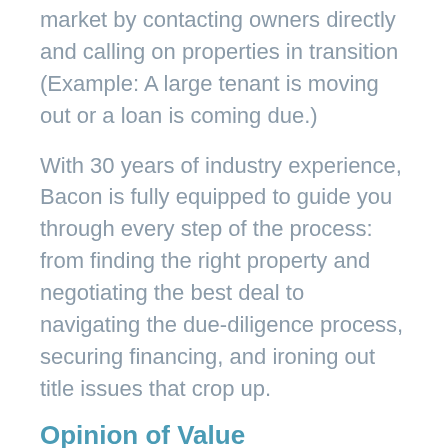market by contacting owners directly and calling on properties in transition (Example: A large tenant is moving out or a loan is coming due.)
With 30 years of industry experience, Bacon is fully equipped to guide you through every step of the process: from finding the right property and negotiating the best deal to navigating the due-diligence process, securing financing, and ironing out title issues that crop up.
Opinion of Value
Many times a property owner (or